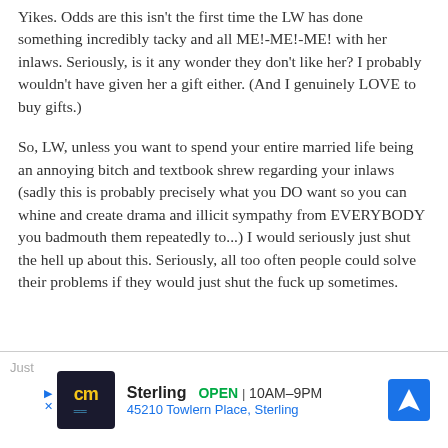Yikes. Odds are this isn't the first time the LW has done something incredibly tacky and all ME!-ME!-ME! with her inlaws. Seriously, is it any wonder they don't like her? I probably wouldn't have given her a gift either. (And I genuinely LOVE to buy gifts.)
So, LW, unless you want to spend your entire married life being an annoying bitch and textbook shrew regarding your inlaws (sadly this is probably precisely what you DO want so you can whine and create drama and illicit sympathy from EVERYBODY you badmouth them repeatedly to...) I would seriously just shut the hell up about this. Seriously, all too often people could solve their problems if they would just shut the fuck up sometimes.
[Figure (other): Advertisement banner for a local business: cm logo (yellow text on dark background), Sterling store, OPEN 10AM-9PM, 45210 Towlern Place Sterling, with a blue diamond navigation arrow icon]